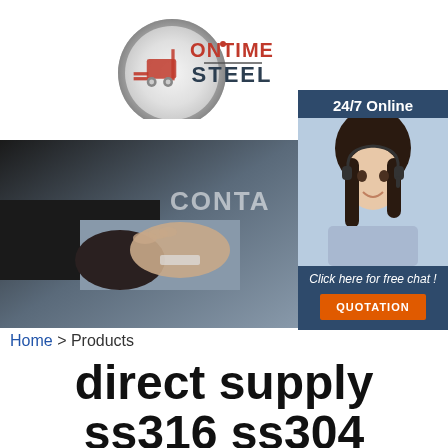[Figure (logo): OnTime Steel company logo with metallic circular graphic and red/dark text]
[Figure (other): Hamburger menu icon (three horizontal lines) in a rounded rectangle border]
[Figure (photo): 24/7 Online customer service widget with woman wearing headset, dark blue background, free chat link and orange QUOTATION button]
[Figure (photo): Hero banner image of two people shaking hands in business attire with partial CONTA text overlay]
Home > Products
direct supply ss316 ss304 stainless steel magnetic